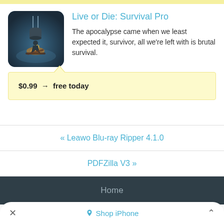[Figure (screenshot): App icon for Live or Die: Survival Pro — dark moody scene with a person sitting near a campfire under a hanging pot, blue/dark tones]
Live or Die: Survival Pro
The apocalypse came when we least expected it, survivor, all we're left with is brutal survival.
$0.99 → free today
« Leawo Blu-ray Ripper 4.1.0
PDFZilla V3 »
Home
Shop iPhone